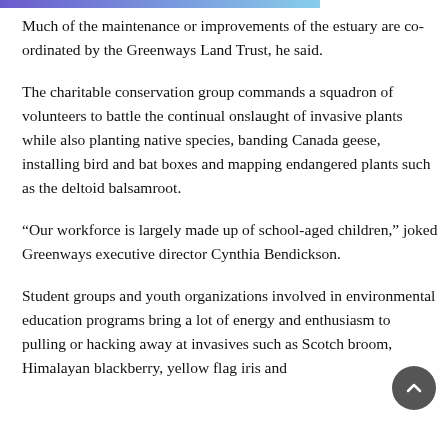[Figure (other): Decorative gradient bar in purple-blue at top of page]
Much of the maintenance or improvements of the estuary are co-ordinated by the Greenways Land Trust, he said.
The charitable conservation group commands a squadron of volunteers to battle the continual onslaught of invasive plants while also planting native species, banding Canada geese, installing bird and bat boxes and mapping endangered plants such as the deltoid balsamroot.
“Our workforce is largely made up of school-aged children,” joked Greenways executive director Cynthia Bendickson.
Student groups and youth organizations involved in environmental education programs bring a lot of energy and enthusiasm to pulling or hacking away at invasives such as Scotch broom, Himalayan blackberry, yellow flag iris and